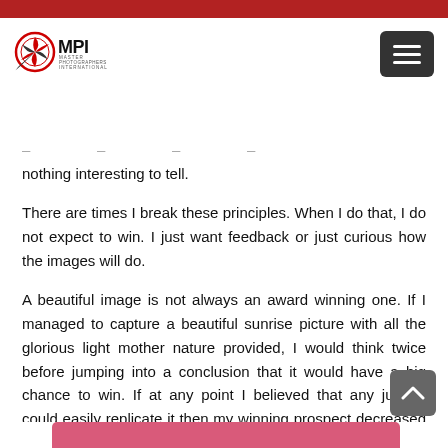[Figure (logo): MPI Master Photographers International logo with circular red emblem and text]
nothing interesting to tell.
There are times I break these principles. When I do that, I do not expect to win. I just want feedback or just curious how the images will do.
A beautiful image is not always an award winning one. If I managed to capture a beautiful sunrise picture with all the glorious light mother nature provided, I would think twice before jumping into a conclusion that it would have a big chance to win. If at any point I believed that any judges could easily replicate it then my winning prospect decreased significantly.